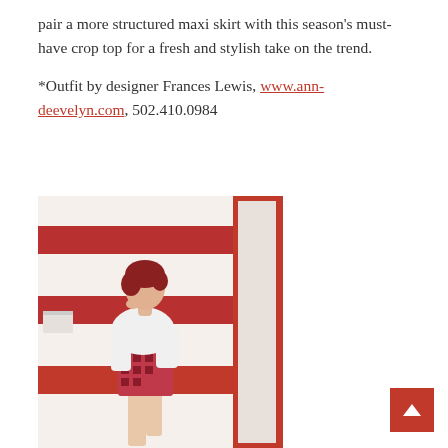pair a more structured maxi skirt with this season's must-have crop top for a fresh and stylish take on the trend.
*Outfit by designer Frances Lewis, www.ann-deevelyn.com, 502.410.0984
[Figure (photo): A woman with red hair wearing a white blazer/jacket and a patterned mini skirt, posing in front of a red and white striped wall.]